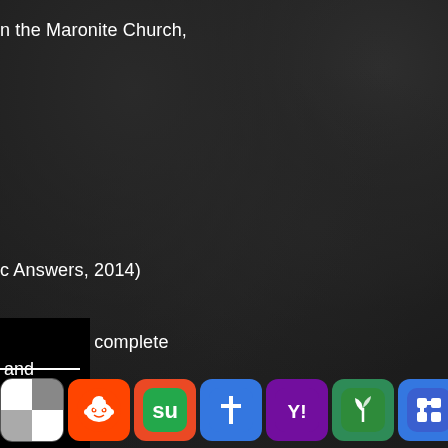n the Maronite Church,
c Answers, 2014)
ed. For the complete
and
[Figure (screenshot): Row of social sharing icons: a black/white checkered icon, Reddit alien icon (red/white), StumbleUpon icon (green), a white cross/church icon (blue), Yahoo! icon (purple), a green plant/leaf icon (green), and a puzzle/grid icon (blue)]